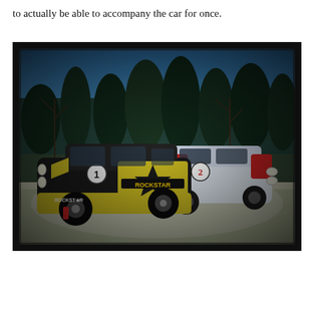to actually be able to accompany the car for once.
[Figure (photo): Two rally cars parked on a gravel/dirt surface with trees in the background. The foreground car is a dark grey Mitsubishi Lancer with Rockstar Energy livery (yellow and black with large Rockstar star logo, number 1). Behind it is a red and white car with number 2. The photo has a vintage/processed look with dark vignette borders.]